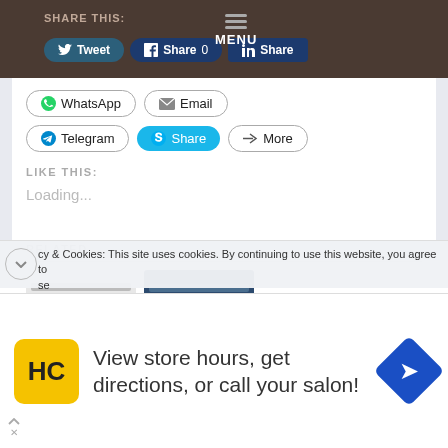SHARE THIS: Tweet | Share 0 | Share | MENU
WhatsApp  Email
Telegram  Share  More
LIKE THIS:
Loading...
RELATED
cy & Cookies: This site uses cookies. By continuing to use this website, you agree to
se
[Figure (screenshot): Advertisement banner: HC logo, text 'View store hours, get directions, or call your salon!', blue navigation icon]